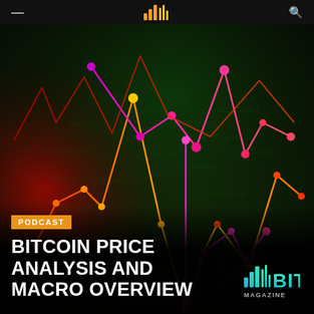Bitcoin Magazine
[Figure (illustration): Dark background with a glowing line chart overlay featuring red, orange, yellow and magenta/pink connected nodes on a circuit-board and binary code background. Multiple intersecting line chart traces with colored dots at data points, colors ranging from red to orange-yellow on the left and magenta-pink on the center-right.]
PODCAST
BITCOIN PRICE ANALYSIS AND MACRO OVERVIEW
[Figure (logo): Bitcoin Magazine logo — stacked bars/lines icon in blue-green gradient, next to 'BIT' text in cyan-green gradient and 'MAGAZINE' in grey below.]